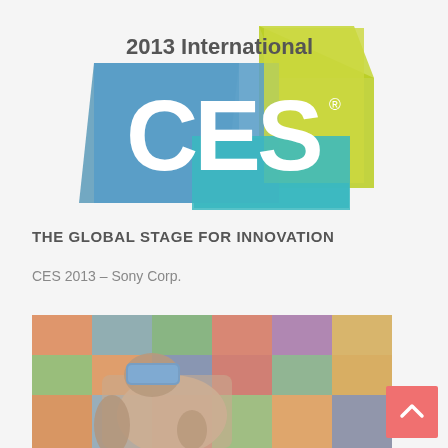[Figure (logo): 2013 International CES logo with colorful overlapping geometric shapes (blue, teal, yellow-green) and large white CES letters]
THE GLOBAL STAGE FOR INNOVATION
CES 2013 – Sony Corp.
[Figure (photo): A tattooed man wearing a blue VR headset, reclining on a colorful patterned couch/backdrop with Baroque-style decorative fabrics]